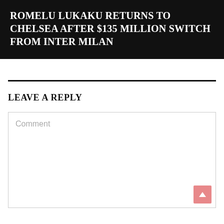ROMELU LUKAKU RETURNS TO CHELSEA AFTER $135 MILLION SWITCH FROM INTER MILAN
LEAVE A REPLY
Comment